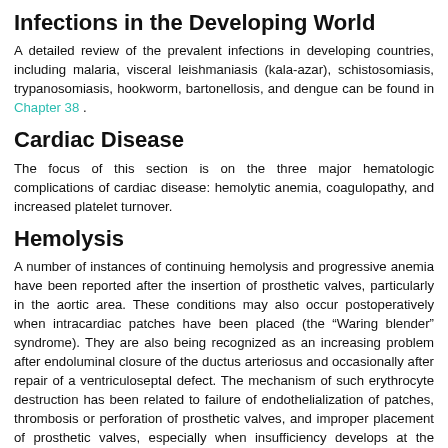Infections in the Developing World
A detailed review of the prevalent infections in developing countries, including malaria, visceral leishmaniasis (kala-azar), schistosomiasis, trypanosomiasis, hookworm, bartonellosis, and dengue can be found in Chapter 38 .
Cardiac Disease
The focus of this section is on the three major hematologic complications of cardiac disease: hemolytic anemia, coagulopathy, and increased platelet turnover.
Hemolysis
A number of instances of continuing hemolysis and progressive anemia have been reported after the insertion of prosthetic valves, particularly in the aortic area. These conditions may also occur postoperatively when intracardiac patches have been placed (the “Waring blender” syndrome). They are also being recognized as an increasing problem after endoluminal closure of the ductus arteriosus and occasionally after repair of a ventriculoseptal defect. The mechanism of such erythrocyte destruction has been related to failure of endothelialization of patches, thrombosis or perforation of prosthetic valves, and improper placement of prosthetic valves, especially when insufficiency develops at the suture lines. Erythrocyte destruction and ensuing hemolysis, however, have been described in the absence of these complications.